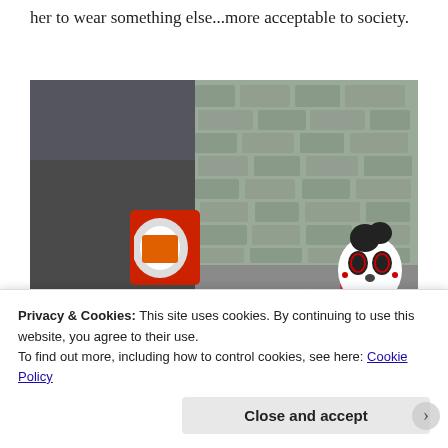When I saw her dressed I was about to encourage her to wear something else...more acceptable to society.
[Figure (photo): Child wearing a black and white skull face mask/face paint with red decorations, standing in a parking lot next to a dark car with red tail lights. Stone wall visible in background.]
Privacy & Cookies: This site uses cookies. By continuing to use this website, you agree to their use.
To find out more, including how to control cookies, see here: Cookie Policy